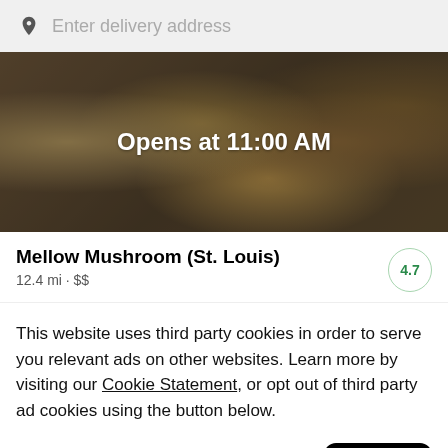Enter delivery address
[Figure (photo): Overhead photo of pizza and food dishes, darkened with overlay text 'Opens at 11:00 AM']
Mellow Mushroom (St. Louis)
12.4 mi • $$
4.7
This website uses third party cookies in order to serve you relevant ads on other websites. Learn more by visiting our Cookie Statement, or opt out of third party ad cookies using the button below.
Opt out
Got it